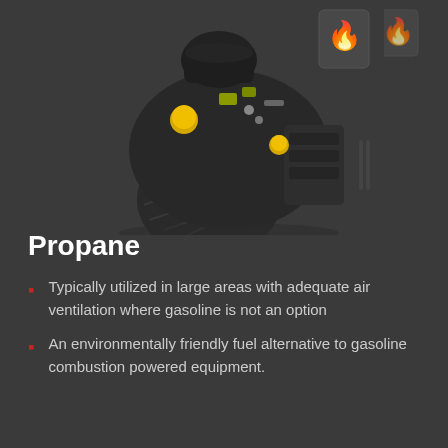[Figure (photo): A Kohler propane engine with black housing and yellow caps/components, shown in a 3D perspective view against a dark gray background. A flame/fuel icon is visible in the upper right corner.]
Propane
Typically utilized in large areas with adequate air ventilation where gasoline is not an option
An environmentally friendly fuel alternative to gasoline combustion powered equipment.